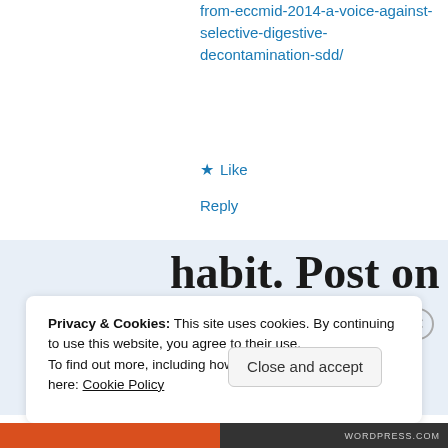from-eccmid-2014-a-voice-against-selective-digestive-decontamination-sdd/
★ Like
Reply
[Figure (screenshot): WordPress app advertisement banner showing text 'habit. Post on the go.' with GET THE APP button and WordPress logo icon]
Privacy & Cookies: This site uses cookies. By continuing to use this website, you agree to their use. To find out more, including how to control cookies, see here: Cookie Policy
Close and accept